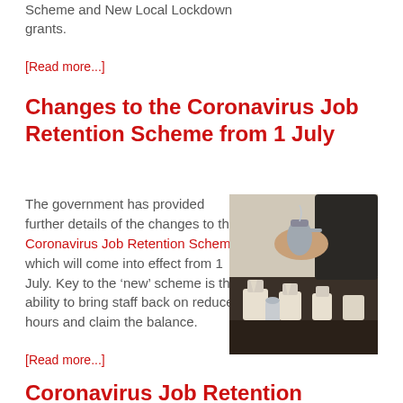Scheme and New Local Lockdown grants.
[Read more...]
Changes to the Coronavirus Job Retention Scheme from 1 July
The government has provided further details of the changes to the Coronavirus Job Retention Scheme which will come into effect from 1 July. Key to the ‘new’ scheme is the ability to bring staff back on reduced hours and claim the balance.
[Figure (photo): Photo of hands pouring coffee into filter cups on a counter, barista scene with coffee equipment.]
[Read more...]
Coronavirus Job Retention